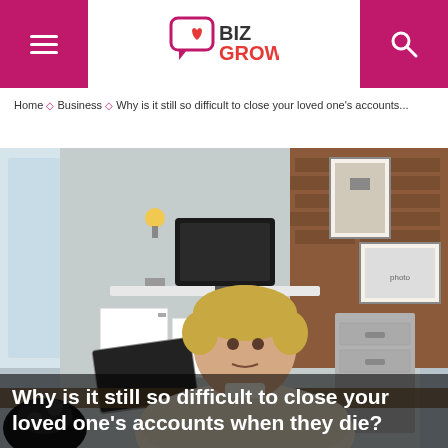BIZ GROWS
Home ◇ Business ◇ Why is it still so difficult to close your loved one's accounts...
[Figure (photo): A middle-aged woman with short blonde hair sitting at a desk in a home office, with a laptop, vintage black telephone, filing boxes, and framed photographs in the background. The setting has a brick wall and white shelving.]
Why is it still so difficult to close your loved one's accounts when they die?